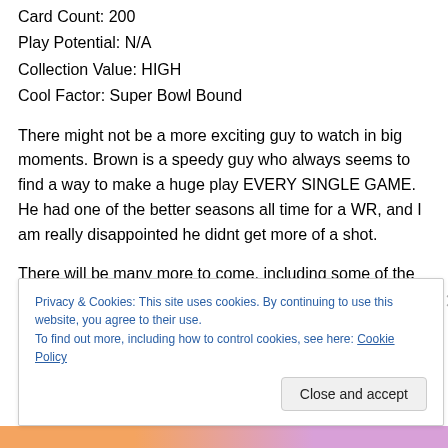Card Count: 200
Play Potential: N/A
Collection Value: HIGH
Cool Factor: Super Bowl Bound
There might not be a more exciting guy to watch in big moments. Brown is a speedy guy who always seems to find a way to make a huge play EVERY SINGLE GAME. He had one of the better seasons all time for a WR, and I am really disappointed he didnt get more of a shot.
There will be many more to come, including some of the
Privacy & Cookies: This site uses cookies. By continuing to use this website, you agree to their use.
To find out more, including how to control cookies, see here: Cookie Policy